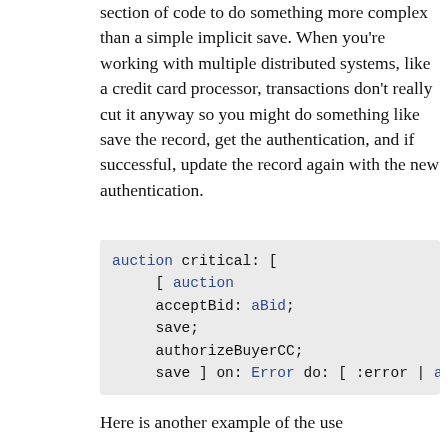other actions inside the critical section of code to do something more complex than a simple implicit save. When you're working with multiple distributed systems, like a credit card processor, transactions don't really cut it anyway so you might do something like save the record, get the authentication, and if successful, update the record again with the new authentication.
auction critical: [
    [ auction
    acceptBid: aBid;
    save;
    authorizeBuyerCC;
    save ] on: Error do: [ :error | auction re
Here is another example of the use